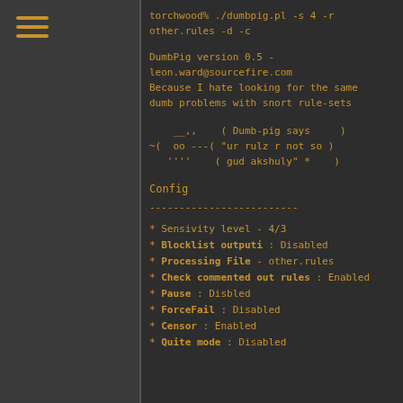torchwood% ./dumbpig.pl -s 4 -r other.rules -d -c
DumbPig version 0.5 - leon.ward@sourcefire.com
Because I hate looking for the same dumb problems with snort rule-sets
[Figure (other): ASCII art of a pig with speech bubble saying 'ur rulz r not so gud akshuly']
Config
-------------------------
* Sensivity level - 4/3
* Blocklist outputi : Disabled
* Processing File - other.rules
* Check commented out rules : Enabled
* Pause : Disbled
* ForceFail : Disabled
* Censor : Enabled
* Quite mode : Disabled